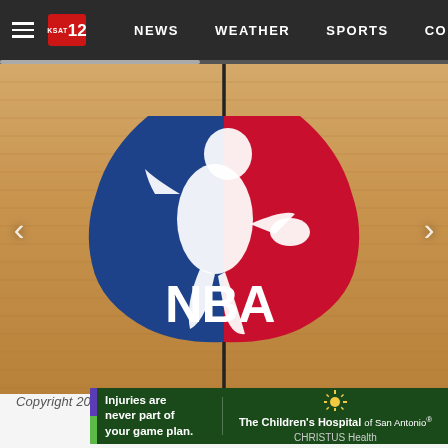≡  KSAT 12  NEWS  WEATHER  SPORTS  CO
[Figure (photo): Overhead view of an NBA basketball court logo (blue and red with white NBA lettering and player silhouette) painted on a hardwood floor, with a black center-court line dividing it. Carousel arrows on left and right.]
Copyright 2020 The Associated Press. All rights reserved.
[Figure (infographic): Advertisement banner for The Children's Hospital of San Antonio – CHRISTUS Health. Text reads: Injuries are never part of your game plan. Green and purple left stripe. Sun/rays logo icon on right side.]